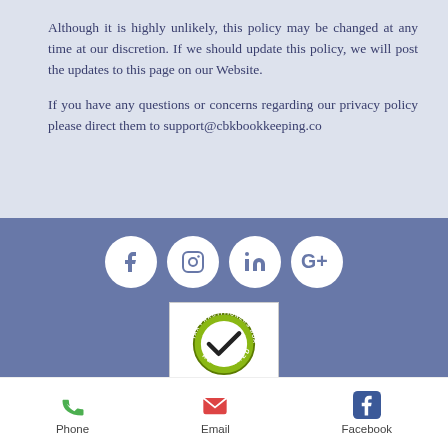Although it is highly unlikely, this policy may be changed at any time at our discretion. If we should update this policy, we will post the updates to this page on our Website.
If you have any questions or concerns regarding our privacy policy please direct them to support@cbkbookkeeping.co
[Figure (other): Social media icons: Facebook, Instagram, LinkedIn, Google+]
[Figure (logo): Tax Practitioners Board Registered - BAS agent 26091777]
Privacy Policy
Terms of Service
Contact
Phone  Email  Facebook